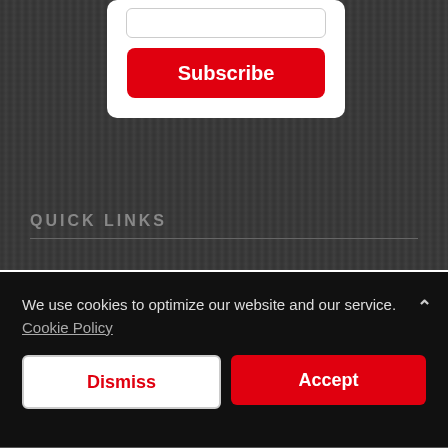[Figure (screenshot): Dark wood-textured background with a white card containing an input field and a red Subscribe button, followed by a QUICK LINKS section header with a horizontal rule.]
Subscribe
QUICK LINKS
We use cookies to optimize our website and our service.  Cookie Policy
Dismiss
Accept